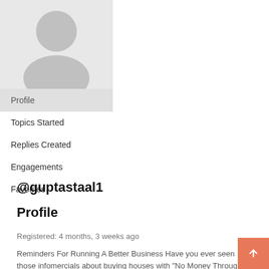[Figure (illustration): Default user avatar placeholder silhouette on light gray background]
Profile
Topics Started
Replies Created
Engagements
Favorites
@guptastaal1
Profile
Registered: 4 months, 3 weeks ago
Reminders For Running A Better Business Have you ever seen those infomercials about buying houses with "No Money Through?" They are really well done. They have issues people offering great testimonials about how they have gotten rich, buying rental properties, with absolutely necessary out of their pocket. View this guy, standing on a street corner